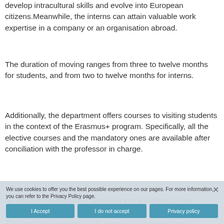develop intracultural skills and evolve into European citizens. Meanwhile, the interns can attain valuable work expertise in a company or an organisation abroad.
The duration of moving ranges from three to twelve months for students, and from two to twelve months for interns.
Additionally, the department offers courses to visiting students in the context of the Erasmus+ program. Specifically, all the elective courses and the mandatory ones are available after conciliation with the professor in charge.
All relative information is available in the website of the university of Thessaly.
The program manager for Erasmus in the department is associate professor Dimitrios Mossialos.
We use cookies to offer you the best possible experience on our pages. For more information, you can refer to the Privacy Policy page.